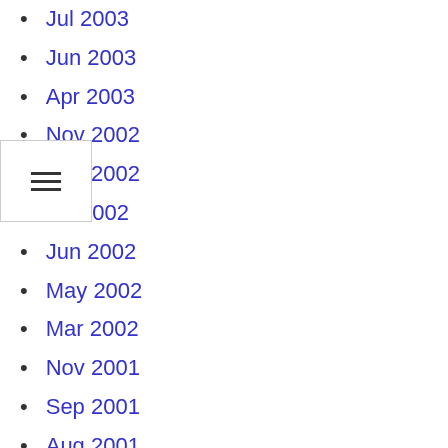Jul 2003
Jun 2003
Apr 2003
Nov 2002
Sep 2002
Jul 2002
Jun 2002
May 2002
Mar 2002
Nov 2001
Sep 2001
Aug 2001
Jun 2001
Dec 2000
Sep 2000
Jul 2000
Jun 2000
May 2000